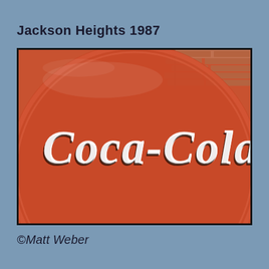Jackson Heights 1987
[Figure (photo): Close-up photograph of a large round red Coca-Cola sign with white Coca-Cola script logo, brick wall visible in background. Photo taken in Jackson Heights, 1987.]
©Matt Weber